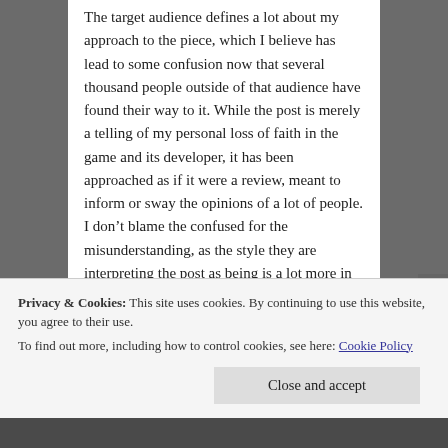The target audience defines a lot about my approach to the piece, which I believe has lead to some confusion now that several thousand people outside of that audience have found their way to it. While the post is merely a telling of my personal loss of faith in the game and its developer, it has been approached as if it were a review, meant to inform or sway the opinions of a lot of people. I don't blame the confused for the misunderstanding, as the style they are interpreting the post as being is a lot more in line with my past writing than the one in question.
In the end though, the post should be
Privacy & Cookies: This site uses cookies. By continuing to use this website, you agree to their use.
To find out more, including how to control cookies, see here: Cookie Policy
Close and accept